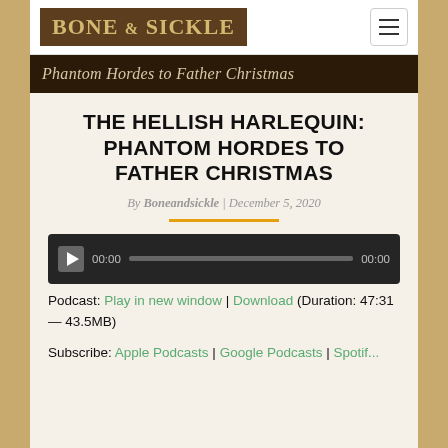BONE & SICKLE
[Figure (screenshot): Dark banner image with text 'Phantom Hordes to Father Christmas' in italic serif font on dark background]
THE HELLISH HARLEQUIN: PHANTOM HORDES TO FATHER CHRISTMAS
By Boneandsickle | December 5, 2020
[Figure (other): Audio player widget with play button, timestamp 00:00, progress bar, and end time 00:00]
Podcast: Play in new window | Download (Duration: 47:31 — 43.5MB)
Subscribe: Apple Podcasts | Google Podcasts | Spotif...